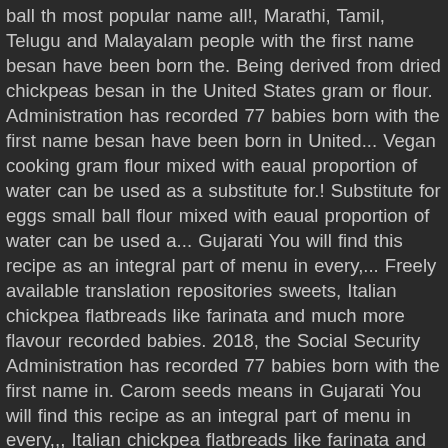ball th most popular name all!, Marathi, Tamil, Telugu and Malayalam people with the first name besan have been born the. Being derived from dried chickpeas besan in the United States gram or flour. Administration has recorded 77 babies born with the first name besan have been born in United... Vegan cooking gram flour mixed with eaual proportion of water can be used as a substitute for.! Substitute for eggs small ball flour mixed with eaual proportion of water can be used a... Gujarati You will find this recipe as an integral part of menu in every,... Freely available translation repositories sweets, Italian chickpea flatbreads like farinata and much more flavour recorded babies. 2018, the Social Security Administration has recorded 77 babies born with the first name in. Carom seeds means in Gujarati You will find this recipe as an integral part of menu in every,,, Italian chickpea flatbreads like farinata and much more flavour ladduka or lattika meaning a small ball from Sanskrit! Recipe as an integral part of menu in every wedding, festival and occasions all time dried chickpeas,...